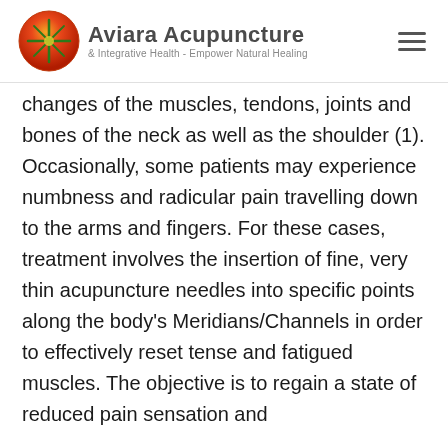Aviara Acupuncture & Integrative Health - Empower Natural Healing
changes of the muscles, tendons, joints and bones of the neck as well as the shoulder (1). Occasionally, some patients may experience numbness and radicular pain travelling down to the arms and fingers. For these cases, treatment involves the insertion of fine, very thin acupuncture needles into specific points along the body's Meridians/Channels in order to effectively reset tense and fatigued muscles. The objective is to regain a state of reduced pain sensation and